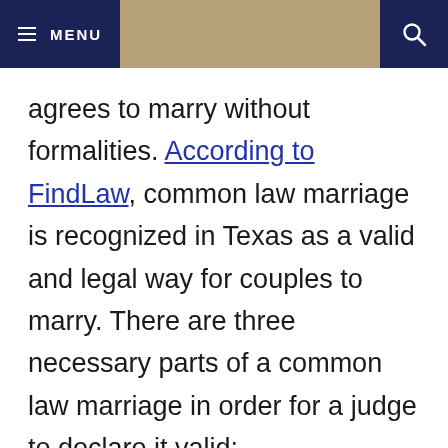≡ MENU | [search icon]
agrees to marry without formalities. According to FindLaw, common law marriage is recognized in Texas as a valid and legal way for couples to marry. There are three necessary parts of a common law marriage in order for a judge to declare it valid: